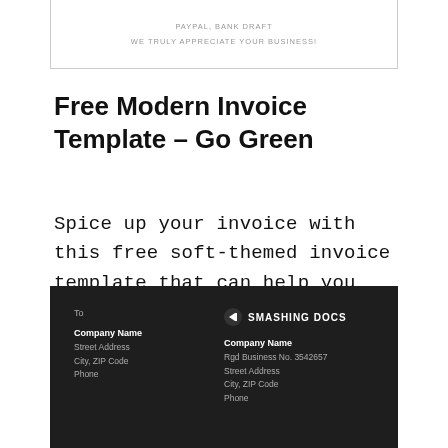PAYPAL, BANK DRAFT
WE TRULY APPRECIATE YOUR BUSINESS!
Free Modern Invoice Template – Go Green
Spice up your invoice with this free soft-themed invoice template that can help you give your clients a ...
To
Company Name
Street Address
City, ZIP Code
Phone
[Figure (logo): Smashing Docs logo with arrow icon]
Company Name
Rgd Business No. 3542657
Street Address
City, ZIP Code
Phone